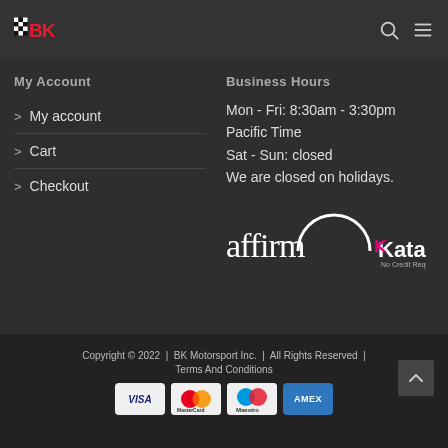[Figure (logo): BK Motorsport logo with checkered flag and red BK letters]
My Account
Business Hours
> My account
> Cart
> Checkout
Mon - Fri: 8:30am - 3:30pm Pacific Time
Sat - Sun: closed
We are closed on holidays.
[Figure (logo): Affirm and Katapult payment logos]
Copyright © 2022  |  BK Motorsport Inc.  |  All Rights Reserved  |  Terms And Conditions
[Figure (infographic): Payment card icons: VISA, MasterCard, Maestro, AMEX]